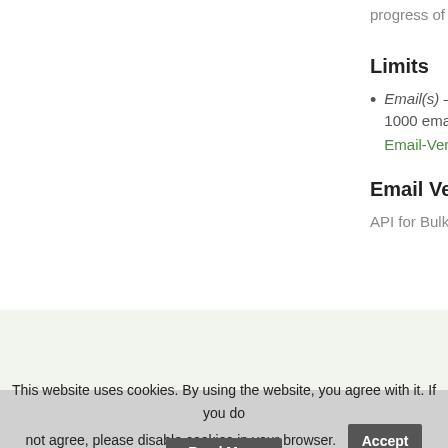progress of the verifica…
Limits
Email(s) – All non-p… 1000 email addres… Email-Verifier.biz p…
Email Verifier API
API for Bulk Email Veri…
About | API
This website uses cookies. By using the website, you agree with it. If you do not agree, please disable cookies in your browser.
Accept
Read More